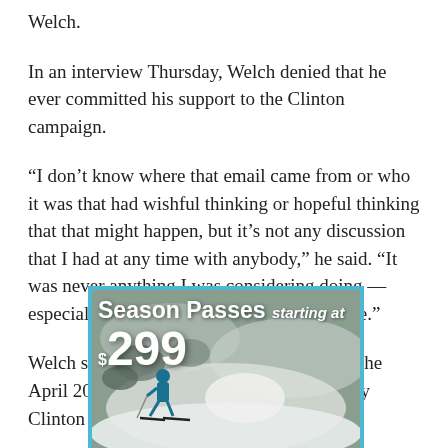Welch.
In an interview Thursday, Welch denied that he ever committed his support to the Clinton campaign.
“I don’t know where that email came from or who it was that had wishful thinking or hopeful thinking that that might happen, but it’s not any discussion that I had at any time with anybody,” he said. “It was never anything I was considering doing — especially in coordination with anybody else.”
Welch said that around the time Mook sent the April 2015 email, he was hearing from many Clinton
[Figure (photo): Advertisement banner for Season Passes starting at $299, showing a skier on a snowy mountain slope with teal border]